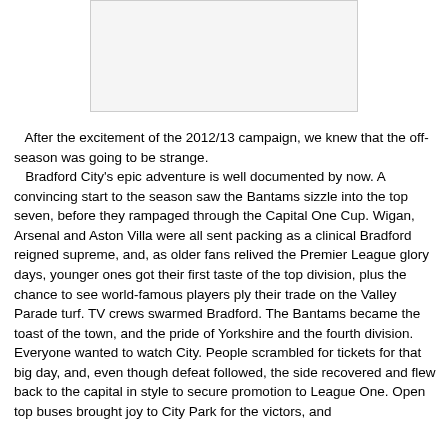[Figure (photo): Image placeholder at top of page]
After the excitement of the 2012/13 campaign, we knew that the off-season was going to be strange.
	Bradford City's epic adventure is well documented by now. A convincing start to the season saw the Bantams sizzle into the top seven, before they rampaged through the Capital One Cup. Wigan, Arsenal and Aston Villa were all sent packing as a clinical Bradford reigned supreme, and, as older fans relived the Premier League glory days, younger ones got their first taste of the top division, plus the chance to see world-famous players ply their trade on the Valley Parade turf. TV crews swarmed Bradford. The Bantams became the toast of the town, and the pride of Yorkshire and the fourth division. Everyone wanted to watch City. People scrambled for tickets for that big day, and, even though defeat followed, the side recovered and flew back to the capital in style to secure promotion to League One. Open top buses brought joy to City Park for the victors, and...